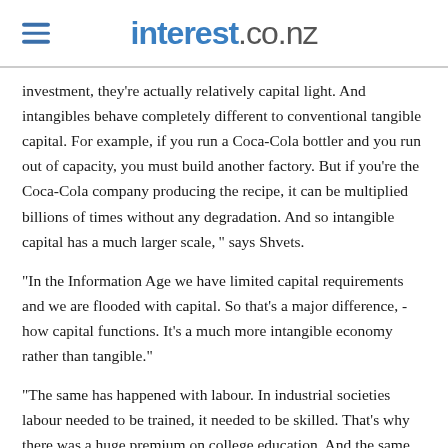interest.co.nz
investment, they're actually relatively capital light. And intangibles behave completely different to conventional tangible capital. For example, if you run a Coca-Cola bottler and you run out of capacity, you must build another factory. But if you're the Coca-Cola company producing the recipe, it can be multiplied billions of times without any degradation. And so intangible capital has a much larger scale," says Shvets.
"In the Information Age we have limited capital requirements and we are flooded with capital. So that's a major difference, - how capital functions. It's a much more intangible economy rather than tangible."
"The same has happened with labour. In industrial societies labour needed to be trained, it needed to be skilled. That's why there was a huge premium on college education. And then some of that [unclear] machine experience since...